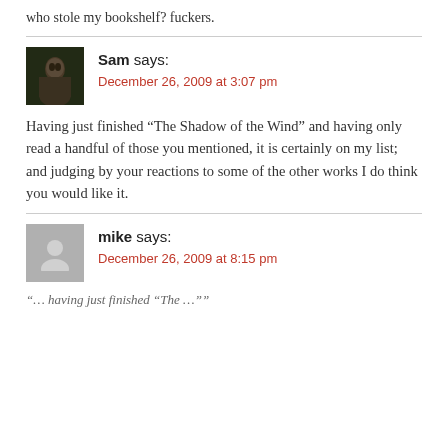who stole my bookshelf? fuckers.
Sam says:
December 26, 2009 at 3:07 pm
Having just finished “The Shadow of the Wind” and having only read a handful of those you mentioned, it is certainly on my list; and judging by your reactions to some of the other works I do think you would like it.
mike says:
December 26, 2009 at 8:15 pm